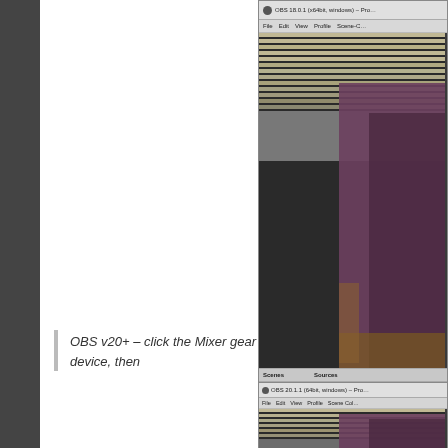[Figure (screenshot): OBS 18.0.1 (x64bit, windows) software window screenshot showing the main interface with preview area displaying a purple/dark object with horizontal blinds, Scenes and Sources panels with Scene listed, toolbar at bottom]
v18 – Auc
OBS v20+ – click the Mixer gear icon next to your audio device, then
[Figure (screenshot): OBS 20.1.1 (64bit, windows) software window screenshot showing the main interface similar to the top screenshot]